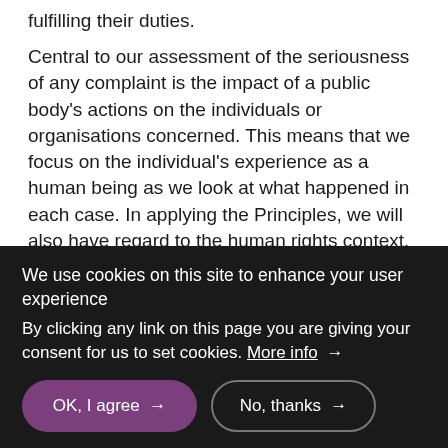fulfilling their duties.

Central to our assessment of the seriousness of any complaint is the impact of a public body's actions on the individuals or organisations concerned. This means that we focus on the individual's experience as a human being as we look at what happened in each case. In applying the Principles, we will also have regard to the human rights context. Taking account of basic human rights principles of fairness, respect, equality, dignity
We use cookies on this site to enhance your user experience
By clicking any link on this page you are giving your consent for us to set cookies. More info →
OK, I agree →
No, thanks →